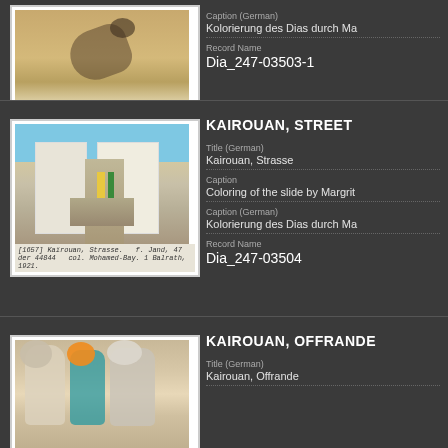[Figure (photo): Scanned lantern slide showing a person lying down with a cat, tan/earth tones, with handwritten caption strip below]
Caption (German)
Kolorierung des Dias durch Ma
Record Name
Dia_247-03503-1
KAIROUAN, STREET
[Figure (photo): Scanned lantern slide of a street scene in Kairouan with white buildings, blue sky, and figures in colorful traditional dress]
Title (German)
Kairouan, Strasse
Caption
Coloring of the slide by Margrit
Caption (German)
Kolorierung des Dias durch Ma
Record Name
Dia_247-03504
KAIROUAN, OFFRANDE
[Figure (photo): Scanned lantern slide showing figures in traditional dress, partial view]
Title (German)
Kairouan, Offrande